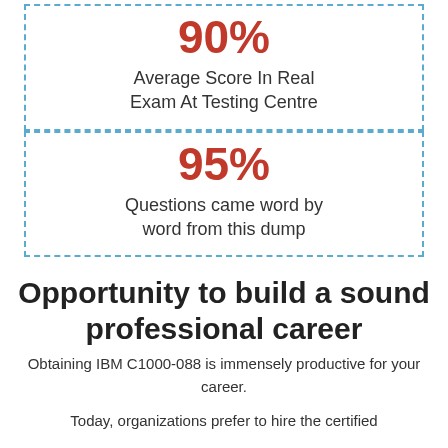90%
Average Score In Real Exam At Testing Centre
95%
Questions came word by word from this dump
Opportunity to build a sound professional career
Obtaining IBM C1000-088 is immensely productive for your career.
Today, organizations prefer to hire the certified